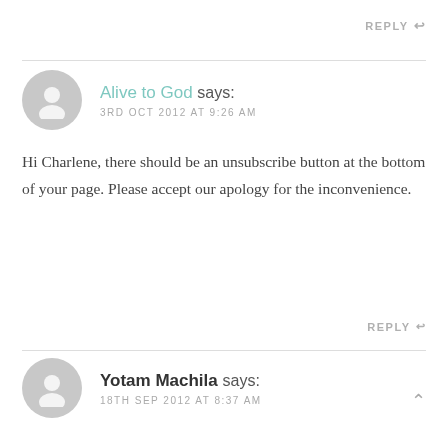REPLY ↩
Alive to God says:
3RD OCT 2012 AT 9:26 AM
Hi Charlene, there should be an unsubscribe button at the bottom of your page. Please accept our apology for the inconvenience.
REPLY ↩
Yotam Machila says:
18TH SEP 2012 AT 8:37 AM